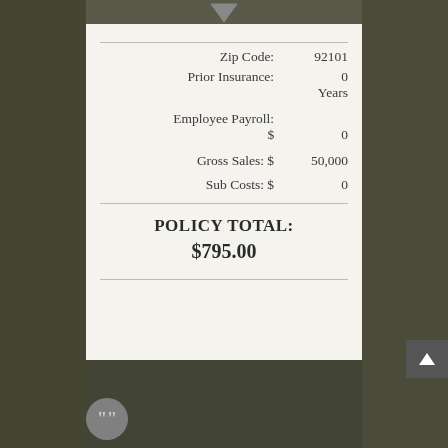[Figure (screenshot): Background photo of a person outdoors, partially obscured by a white insurance quote summary card]
| Zip Code: | 92101 |
| Prior Insurance: | 0 Years |
| Employee Payroll: | $ 0 |
| Gross Sales: $ | 50,000 |
| Sub Costs: $ | 0 |
POLICY TOTAL:
$795.00